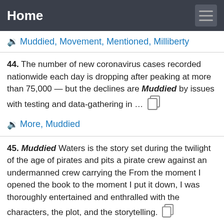Home
Muddied, Movement, Mentioned, Milliberty
44. The number of new coronavirus cases recorded nationwide each day is dropping after peaking at more than 75,000 — but the declines are Muddied by issues with testing and data-gathering in …
More, Muddied
45. Muddied Waters is the story set during the twilight of the age of pirates and pits a pirate crew against an undermanned crew carrying the From the moment I opened the book to the moment I put it down, I was thoroughly entertained and enthralled with the characters, the plot, and the storytelling.
Muddied, Moment